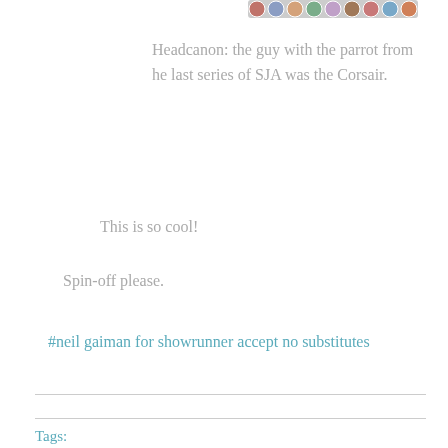[Figure (illustration): A strip of avatar/profile circle images at top right]
Headcanon: the guy with the parrot from he last series of SJA was the Corsair.
This is so cool!
Spin-off please.
#neil gaiman for showrunner accept no substitutes
Tags: